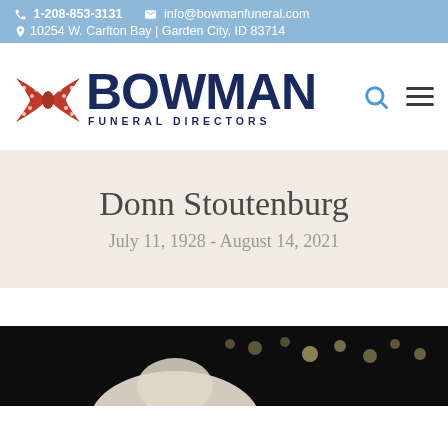1-208-853-3131  info@bowmanfuneral.com  10254 W. Carlton Bay | Garden City, ID 83714
[Figure (logo): Bowman Funeral Directors logo with red bow tie graphic and dark navy text]
Donn Stoutenburg
July 11, 1928 - August 14, 2021
[Figure (photo): Black and white or dark photo of a person with lights/bokeh in background, partially visible at bottom of page]